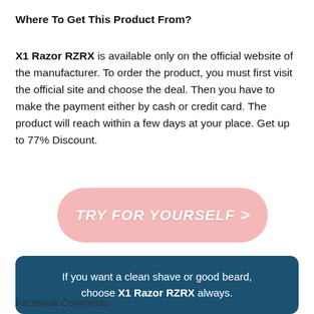Where To Get This Product From?
X1 Razor RZRX is available only on the official website of the manufacturer. To order the product, you must first visit the official site and choose the deal. Then you have to make the payment either by cash or credit card. The product will reach within a few days at your place. Get up to 77% Discount.
[Figure (other): Pink rounded rectangle call-to-action button with italic bold white text reading 'TRY FOR YOURSELF >']
If you want a clean shave or good beard, choose X1 Razor RZRX always.
Facebook Comments